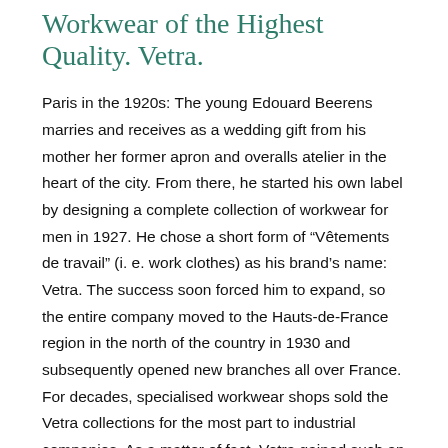Workwear of the Highest Quality. Vetra.
Paris in the 1920s: The young Edouard Beerens marries and receives as a wedding gift from his mother her former apron and overalls atelier in the heart of the city. From there, he started his own label by designing a complete collection of workwear for men in 1927. He chose a short form of “Vêtements de travail” (i. e. work clothes) as his brand’s name: Vetra. The success soon forced him to expand, so the entire company moved to the Hauts-de-France region in the north of the country in 1930 and subsequently opened new branches all over France. For decades, specialised workwear shops sold the Vetra collections for the most part to industrial companies. As a matter of fact, Vetra gained such an outstanding reputation that it became the subject of collective bargaining with some trade unions a while after the 1968 strikes.